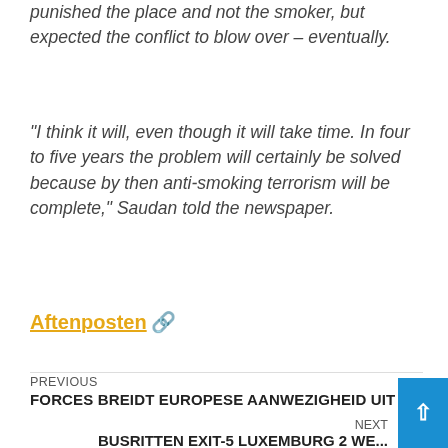punished the place and not the smoker, but expected the conflict to blow over – eventually.
“I think it will, even though it will take time. In four to five years the problem will certainly be solved because by then anti-smoking terrorism will be complete,” Saudan told the newspaper.
Aftenposten 🔗
PREVIOUS
FORCES BREIDT EUROPESE AANWEZIGHEID UIT
NEXT
BUSRITTEN EXIT-5 LUXEMBURG 2 WE...
GRATIS